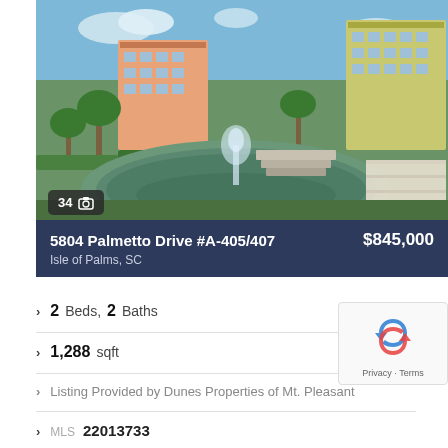[Figure (photo): Exterior photo of a multi-story condominium complex with colorful buildings, palm trees, and a pond with a fountain in the foreground. Photo badge shows '34' with a camera icon.]
5804 Palmetto Drive #A-405/407  $845,000
Isle of Palms, SC
2 Beds,  2 Baths
1,288 sqft
Listing Provided by Dunes Properties of Mt. Pleasant
MLS 22013733